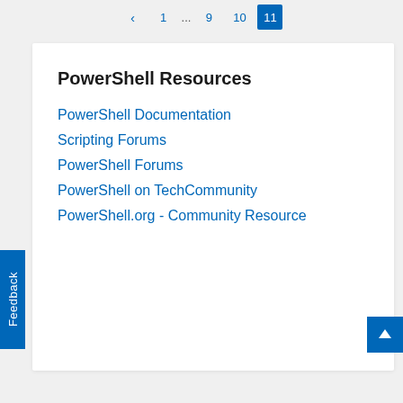< 1 ... 9 10 11
PowerShell Resources
PowerShell Documentation
Scripting Forums
PowerShell Forums
PowerShell on TechCommunity
PowerShell.org - Community Resource